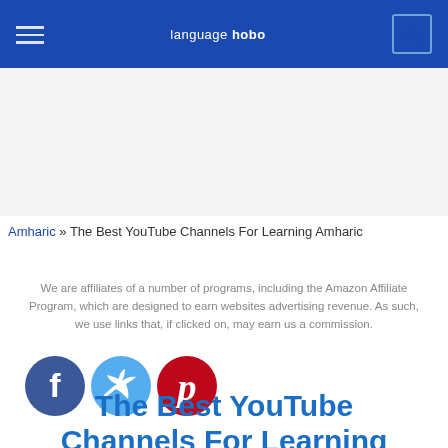language hobo
Amharic » The Best YouTube Channels For Learning Amharic
We are affiliates of a number of programs, including the Amazon Affiliate Program, which are designed to earn websites advertising revenue. As such, we use links that, if clicked on, may earn us a commission.
[Figure (illustration): Social media icons: Facebook (blue circle with f), Twitter (light blue circle with bird), Pinterest (red circle with P)]
The Best YouTube Channels For Learning